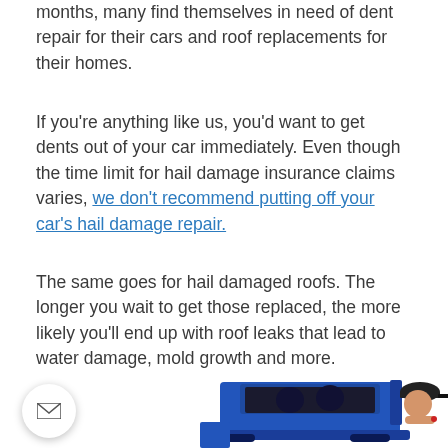months, many find themselves in need of dent repair for their cars and roof replacements for their homes.
If you're anything like us, you'd want to get dents out of your car immediately. Even though the time limit for hail damage insurance claims varies, we don't recommend putting off your car's hail damage repair.
The same goes for hail damaged roofs. The longer you wait to get those replaced, the more likely you'll end up with roof leaks that lead to water damage, mold growth and more.
[Figure (photo): Photo showing a blue SUV/jeep with open door and a person wearing a black cap appearing to inspect or work on the vehicle, with a circular email contact button in the bottom left corner.]